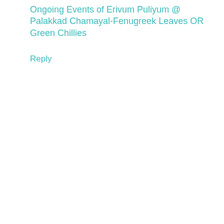Ongoing Events of Erivum Puliyum @ Palakkad Chamayal-Fenugreek Leaves OR Green Chillies
Reply